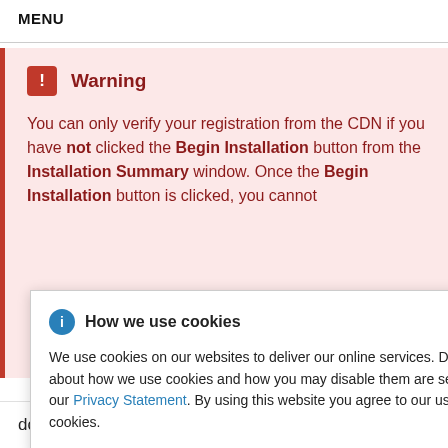MENU
Warning

You can only verify your registration from the CDN if you have not clicked the Begin Installation button from the Installation Summary window. Once the Begin Installation button is clicked, you cannot [use the window to process a]
How we use cookies

We use cookies on our websites to deliver our online services. Details about how we use cookies and how you may disable them are set out in our Privacy Statement. By using this website you agree to our use of cookies.
documented in the Register and install from